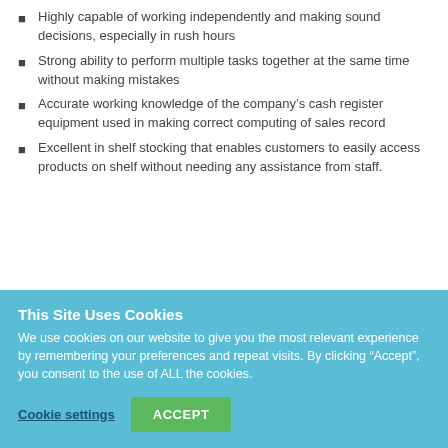Highly capable of working independently and making sound decisions, especially in rush hours
Strong ability to perform multiple tasks together at the same time without making mistakes
Accurate working knowledge of the company's cash register equipment used in making correct computing of sales record
Excellent in shelf stocking that enables customers to easily access products on shelf without needing any assistance from staff.
This Site Uses Cookies
We use cookies on our website to give you the most relevant experience by remembering your preferences and repeat visits. By clicking “Accept”, you consent to the use of ALL the cookies.
Cookie settings | ACCEPT